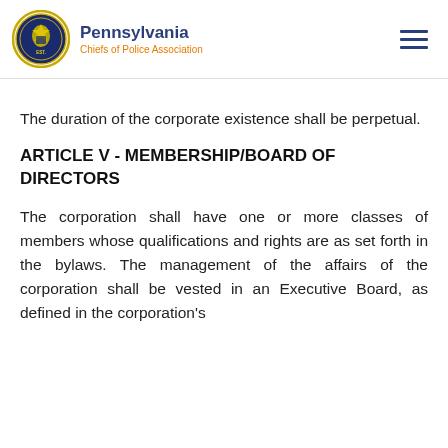Pennsylvania Chiefs of Police Association
The duration of the corporate existence shall be perpetual.
ARTICLE V - MEMBERSHIP/BOARD OF DIRECTORS
The corporation shall have one or more classes of members whose qualifications and rights are as set forth in the bylaws. The management of the affairs of the corporation shall be vested in an Executive Board, as defined in the corporation's bylaws. The Officers, an Executive Board, and a